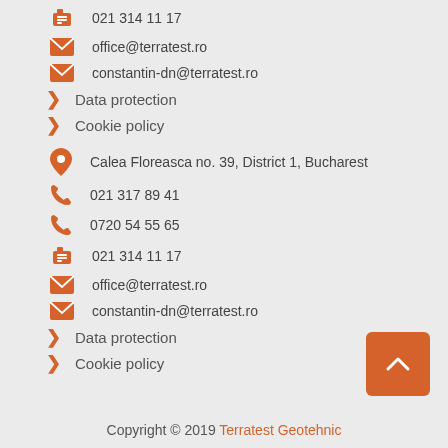021 314 11 17
office@terratest.ro
constantin-dn@terratest.ro
Data protection
Cookie policy
Calea Floreasca no. 39, District 1, Bucharest
021 317 89 41
0720 54 55 65
021 314 11 17
office@terratest.ro
constantin-dn@terratest.ro
Data protection
Cookie policy
Copyright © 2019 Terratest Geotehnic